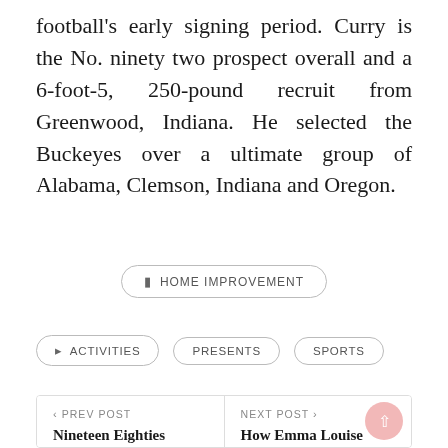football's early signing period. Curry is the No. ninety two prospect overall and a 6-foot-5, 250-pound recruit from Greenwood, Indiana. He selected the Buckeyes over a ultimate group of Alabama, Clemson, Indiana and Oregon.
HOME IMPROVEMENT
ACTIVITIES
PRESENTS
SPORTS
< PREV POST
Nineteen Eighties
NEXT POST >
How Emma Louise